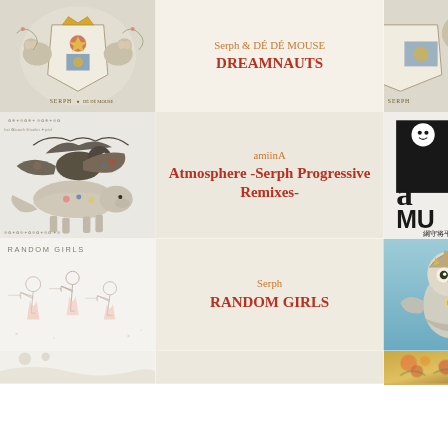[Figure (illustration): Album artwork showing a heraldic coat of arms with two mice/rats and decorative elements, for Serph & DÉ DÉ MOUSE DREAMNAUTS]
Serph & DÉ DÉ MOUSE
DREAMNAUTS
[Figure (illustration): Partial view of heraldic coat of arms with bird, right side cropped]
[Figure (illustration): Album artwork with wolf and bird in motion, flowers and nature elements, for amiinA Atmosphere -Serph Progressive Remixes-]
amiinA
Atmosphere -Serph Progressive Remixes-
[Figure (logo): Black and red logo with Japanese text, reading 'a MU' with kanji characters 綱守将平]
[Figure (illustration): Album artwork RANDOM GIRLS showing minimal line-drawn figures of girls with bows and arrows, pink accents on white background]
Serph
RANDOM GIRLS
[Figure (illustration): Blue-toned album artwork showing owl-like warrior figure]
[Figure (illustration): Bottom partial artwork, beige/tan background]
[Figure (illustration): Bottom center partial artwork]
[Figure (illustration): Bottom right partial artwork with golden/orange tones and floral elements]